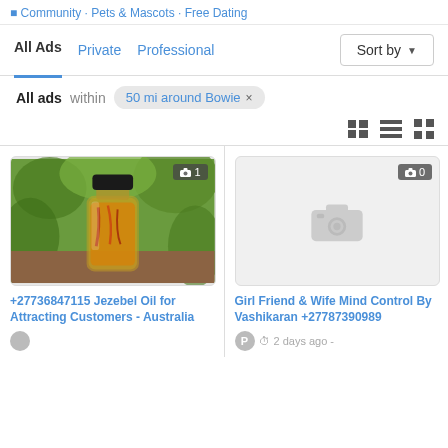Community · Pets & Mascots · Free Dating
All Ads   Private   Professional   Sort by
All ads within 50 mi around Bowie ×
[Figure (screenshot): View toggle icons: list view and grid view buttons]
[Figure (photo): Small amber/oil bottle with black cap on wooden surface outdoors, photo count badge: 1]
+27736847115 Jezebel Oil for Attracting Customers - Australia
[Figure (photo): No image placeholder with camera icon, photo count badge: 0]
Girl Friend & Wife Mind Control By Vashikaran +27787390989
P  2 days ago -